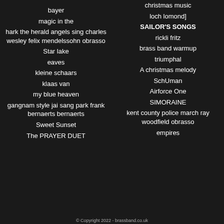christmas music
bayer
loch lomond]
magic in the
SAILOR'S SONGS
hark the herald angels sing charles wesley felix mendelssohn obrasso
rickli fritz
Star lake
brass band warmup
eaves
triumphal
kleine schaars
A christmas melody
klaas van
SchUman
my blue heaven
Airforce One
gangnam style jai sang park frank bernaerts bernaerts
SIMORAINE
Sweet Sunset
kent county police march ray woodfield obrasso
The PRAYER DUET
empires
© Copyright 2022 - brassband.co.uk